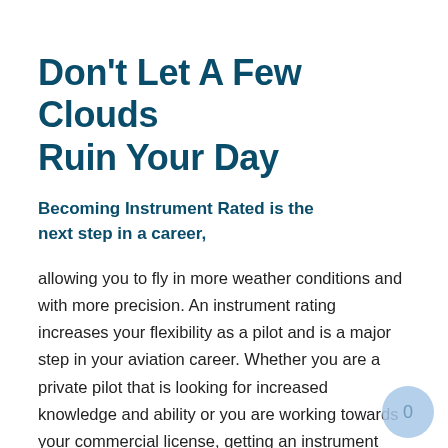Don't Let A Few Clouds Ruin Your Day
Becoming Instrument Rated is the next step in a career,
allowing you to fly in more weather conditions and with more precision. An instrument rating increases your flexibility as a pilot and is a major step in your aviation career. Whether you are a private pilot that is looking for increased knowledge and ability or you are working towards your commercial license, getting an instrument rating is an important step.